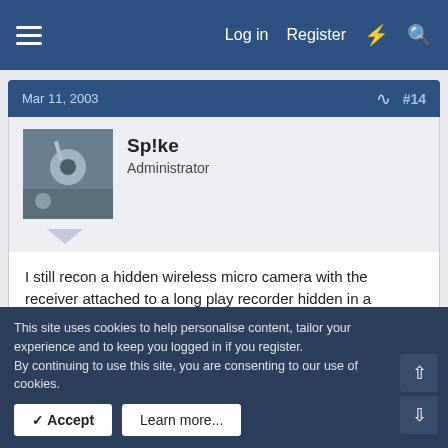Log in  Register
Mar 11, 2003  #14
Sp!ke
Administrator
I still recon a hidden wireless micro camera with the receiver attached to a long play recorder hidden in a cupboard elsewhere will catch them at it.

The kit is pretty cheap nowadays - you would be surprised.

http://www.camerascctv.com/wireless-camera.htm?
This site uses cookies to help personalise content, tailor your experience and to keep you logged in if you register.
By continuing to use this site, you are consenting to our use of cookies.